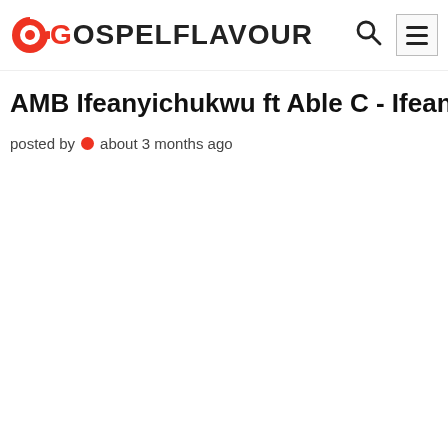GOSPELFLAVOUR
AMB Ifeanyichukwu ft Able C - Ifeanyi Chukwu
posted by  about 3 months ago